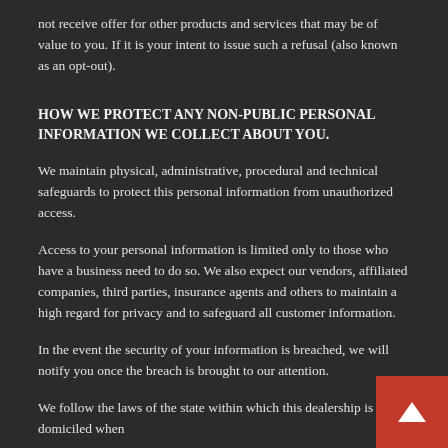not receive offer for other products and services that may be of value to you. If it is your intent to issue such a refusal (also known as an opt-out).
HOW WE PROTECT ANY NON-PUBLIC PERSONAL INFORMATION WE COLLECT ABOUT YOU.
We maintain physical, administrative, procedural and technical safeguards to protect this personal information from unauthorized access.
Access to your personal information is limited only to those who have a business need to do so. We also expect our vendors, affiliated companies, third parties, insurance agents and others to maintain a high regard for privacy and to safeguard all customer information.
In the event the security of your information is breached, we will notify you once the breach is brought to our attention.
We follow the laws of the state within which this dealership is domiciled when